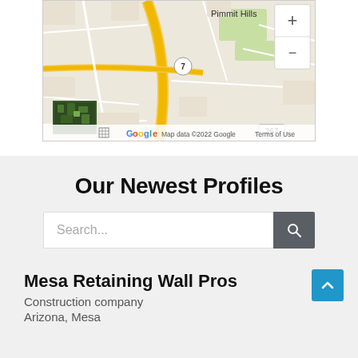[Figure (map): Google Maps screenshot showing Pimmit Hills area with Capital Beltway road, route 7 marker, green areas, and map controls (+ and - zoom buttons). Map data ©2022 Google. Terms of Use shown at bottom right. A satellite view thumbnail shown at bottom left.]
Our Newest Profiles
Search...
Mesa Retaining Wall Pros
Construction company
Arizona, Mesa